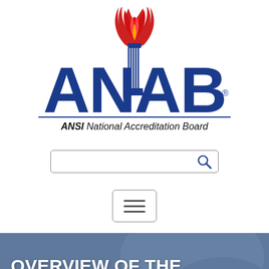[Figure (logo): ANAB logo with torch/flame icon above large blue ANAB letters, followed by a horizontal blue rule and tagline 'ANSI National Accreditation Board']
[Figure (screenshot): Search input box with search icon (magnifying glass) on the right]
[Figure (screenshot): Hamburger menu button (three horizontal lines) in a rounded rectangle border]
OVERVIEW OF THE INTERNATIONAL